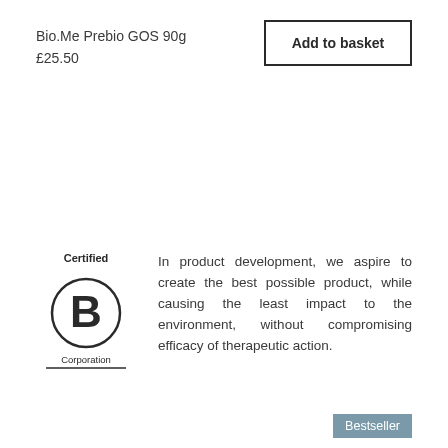Bio.Me Prebio GOS 90g
£25.50
Add to basket
[Figure (logo): Certified B Corporation circular logo with B inside a circle, 'Certified' above and 'Corporation' below with underline]
In product development, we aspire to create the best possible product, while causing the least impact to the environment, without compromising efficacy of therapeutic action.
Bestseller